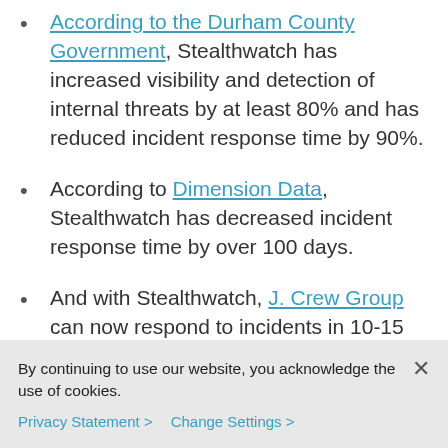According to the Durham County Government, Stealthwatch has increased visibility and detection of internal threats by at least 80% and has reduced incident response time by 90%.
According to Dimension Data, Stealthwatch has decreased incident response time by over 100 days.
And with Stealthwatch, J. Crew Group can now respond to incidents in 10-15 minutes.
By continuing to use our website, you acknowledge the use of cookies.
Privacy Statement >   Change Settings >